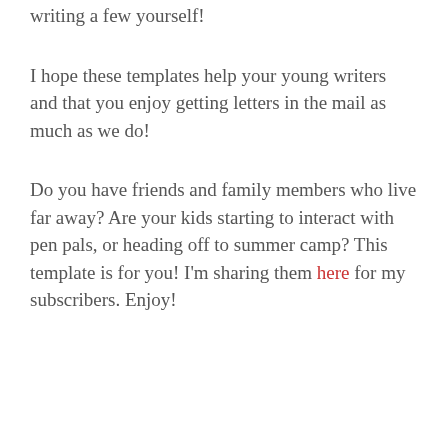writing a few yourself!
I hope these templates help your young writers and that you enjoy getting letters in the mail as much as we do!
Do you have friends and family members who live far away? Are your kids starting to interact with pen pals, or heading off to summer camp? This template is for you! I'm sharing them here for my subscribers. Enjoy!